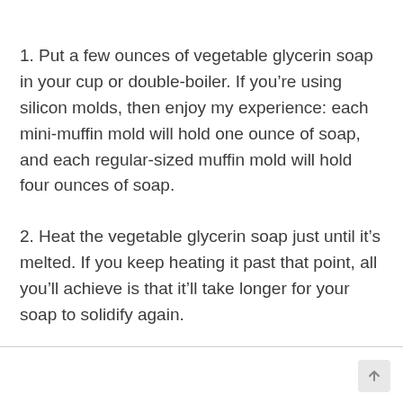1. Put a few ounces of vegetable glycerin soap in your cup or double-boiler. If you're using silicon molds, then enjoy my experience: each mini-muffin mold will hold one ounce of soap, and each regular-sized muffin mold will hold four ounces of soap.
2. Heat the vegetable glycerin soap just until it's melted. If you keep heating it past that point, all you'll achieve is that it'll take longer for your soap to solidify again.